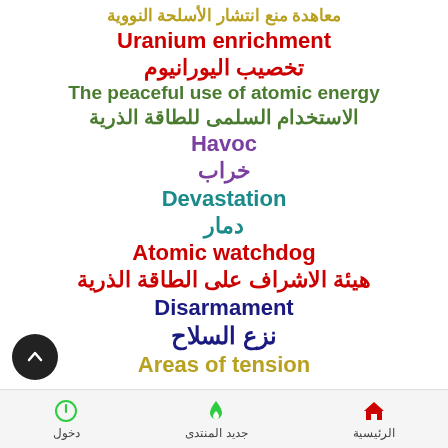معاهدة منع انتشار الأسلحة النووية
Uranium enrichment
تخصيب اليورانيوم
The peaceful use of atomic energy
الاستخدام السلمى للطاقة الذرية
Havoc
خراب
Devastation
دمار
Atomic watchdog
هيئة الاشراف على الطاقة الذرية
Disarmament
نزع السلاح
Areas of tension
دخول  جديد المنتدى  الرئيسية